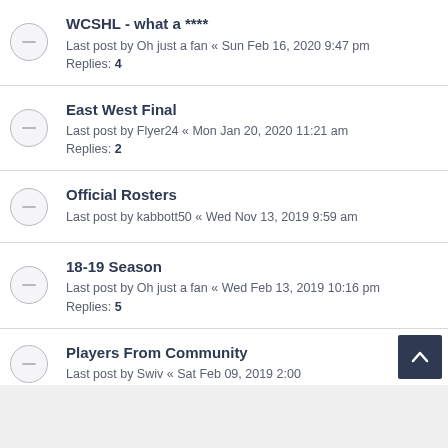WCSHL - what a ****
Last post by Oh just a fan « Sun Feb 16, 2020 9:47 pm
Replies: 4
East West Final
Last post by Flyer24 « Mon Jan 20, 2020 11:21 am
Replies: 2
Official Rosters
Last post by kabbott50 « Wed Nov 13, 2019 9:59 am
18-19 Season
Last post by Oh just a fan « Wed Feb 13, 2019 10:16 pm
Replies: 5
Players From Community
Last post by Swiv « Sat Feb 09, 2019 2:00